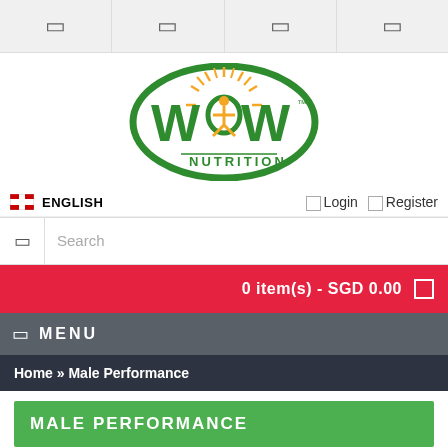Navigation icons bar
[Figure (logo): WOW Nutrition logo - oval green border with WOW text in green and yellow human figure, NUTRITION text below]
ENGLISH   Login   Register
Search
0 item(s) - SGD 0.00
MENU
Home » Male Performance
MALE PERFORMANCE